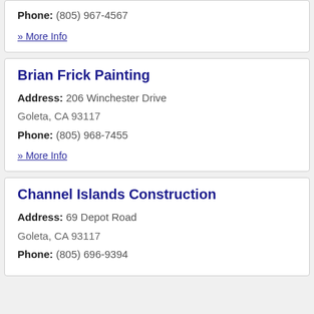Phone: (805) 967-4567
» More Info
Brian Frick Painting
Address: 206 Winchester Drive Goleta, CA 93117
Phone: (805) 968-7455
» More Info
Channel Islands Construction
Address: 69 Depot Road Goleta, CA 93117
Phone: (805) 696-9394